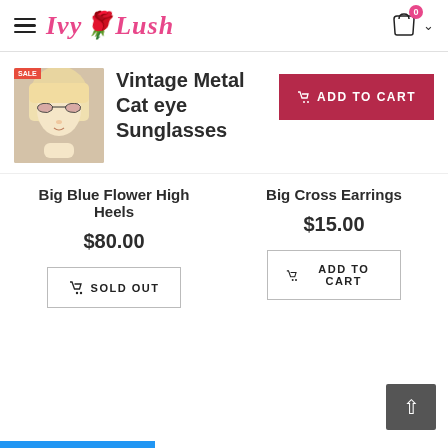Ivy Lush — navigation header with hamburger menu, logo, cart icon with badge 0
Vintage Metal Cat eye Sunglasses
[Figure (photo): Thumbnail photo of a woman wearing cat-eye sunglasses with a SALE badge]
ADD TO CART
Big Blue Flower High Heels
$80.00
SOLD OUT
Big Cross Earrings
$15.00
ADD TO CART